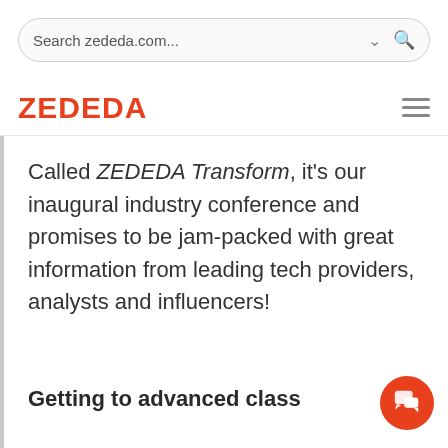Search zededa.com...
[Figure (logo): ZEDEDA company logo in orange/red color with hamburger menu icon on the right]
Called ZEDEDA Transform, it's our inaugural industry conference and promises to be jam-packed with great information from leading tech providers, analysts and influencers!
Getting to advanced class